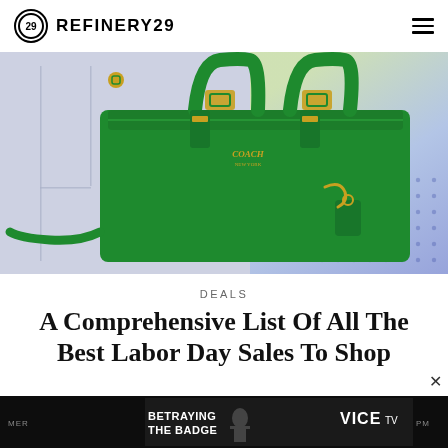REFINERY29
[Figure (photo): Green Coach leather tote bag with gold hardware, displayed against a light lavender/gray background with geometric shapes and a colorful gradient (yellow-green to blue) dot pattern in the upper right corner.]
DEALS
A Comprehensive List Of All The Best Labor Day Sales To Shop
[Figure (photo): Advertisement banner for 'Betraying The Badge' on VICE TV, showing a silhouette of a figure against a dark background.]
MER ... PM